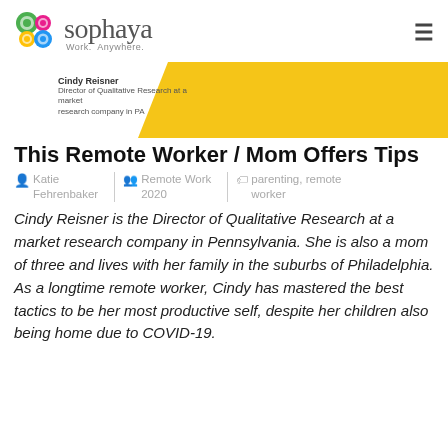[Figure (logo): Sophaya logo with colorful swirl icon and text 'sophaya Work. Anywhere.']
[Figure (photo): Banner image with yellow diagonal background. Text: Cindy Reisner, Director of Qualitative Research at a market research company in PA]
This Remote Worker / Mom Offers Tips
Katie Fehrenbaker | Remote Work 2020 | parenting, remote worker
Cindy Reisner is the Director of Qualitative Research at a market research company in Pennsylvania. She is also a mom of three and lives with her family in the suburbs of Philadelphia. As a longtime remote worker, Cindy has mastered the best tactics to be her most productive self, despite her children also being home due to COVID-19.